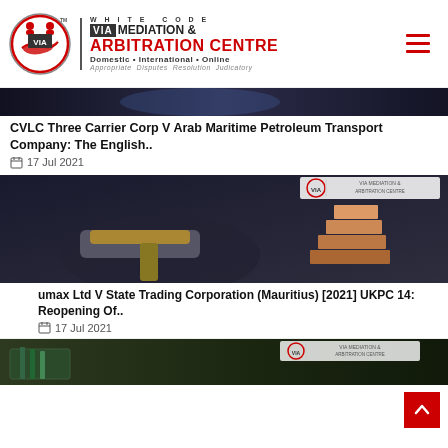[Figure (logo): White Code VIA Mediation & Arbitration Centre logo with circular emblem and text]
[Figure (photo): Dark background image, possibly of legal/maritime theme]
CVLC Three Carrier Corp V Arab Maritime Petroleum Transport Company: The English..
17 Jul 2021
[Figure (photo): Gavel on a wooden surface with stacked building/brick blocks, legal arbitration imagery with VIA Mediation & Arbitration Centre branding]
umax Ltd V State Trading Corporation (Mauritius) [2021] UKPC 14: Reopening Of..
17 Jul 2021
[Figure (photo): Books and documents, legal reference materials with VIA branding overlay]